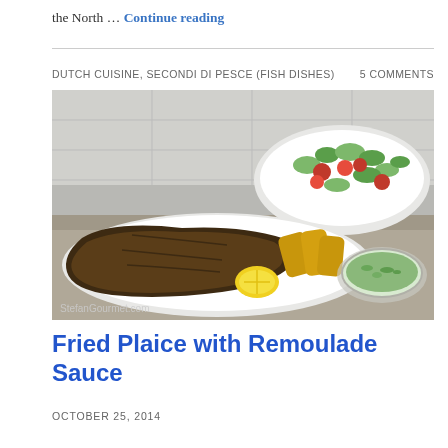the North … Continue reading
DUTCH CUISINE, SECONDI DI PESCE (FISH DISHES)    5 COMMENTS
[Figure (photo): A plate with fried plaice fish, potato wedges, and a lemon half, alongside a bowl of cucumber and tomato salad and a small glass bowl of green remoulade sauce, on a light grey surface. Watermark: StefanGourmet.com]
Fried Plaice with Remoulade Sauce
OCTOBER 25, 2014